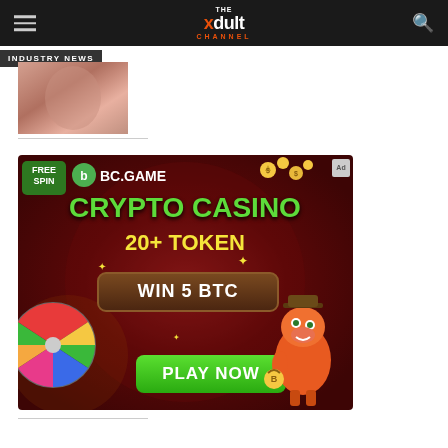THE xdult CHANNEL
INDUSTRY NEWS
[Figure (photo): Partial thumbnail image of a person, cropped at bottom]
[Figure (infographic): BC.GAME crypto casino advertisement banner. Text: FREE SPIN, BC.GAME, CRYPTO CASINO, 20+ TOKEN, WIN 5 BTC, PLAY NOW. Features spinning wheel, coins, and dinosaur character.]